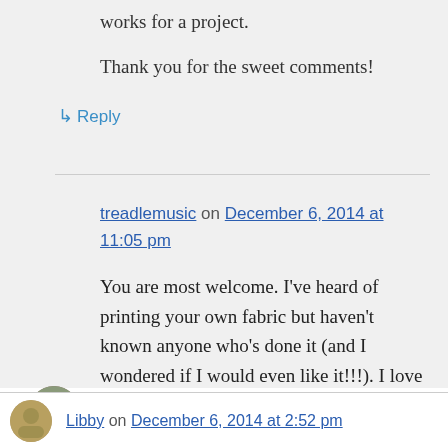works for a project.
Thank you for the sweet comments!
↳ Reply
treadlemusic on December 6, 2014 at 11:05 pm
You are most welcome. I've heard of printing your own fabric but haven't known anyone who's done it (and I wondered if I would even like it!!!). I love what you have done!!!!!!
Libby on December 6, 2014 at 2:52 pm